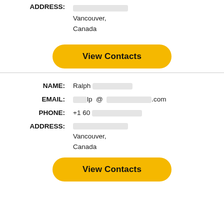ADDRESS: [redacted] Vancouver, Canada
[Figure (other): Yellow 'View Contacts' button]
NAME: Ralph [redacted]
EMAIL: [redacted]lp@[redacted].com
PHONE: +1 60[redacted]
ADDRESS: [redacted] Vancouver, Canada
[Figure (other): Yellow 'View Contacts' button]